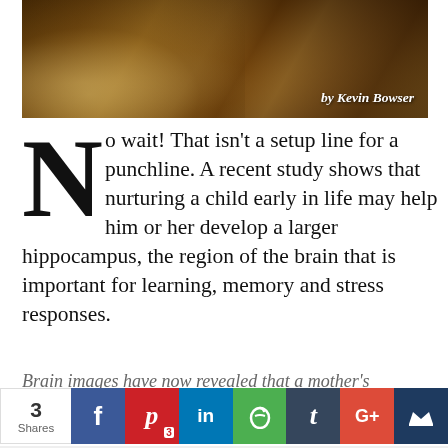[Figure (photo): Close-up photo of lion cubs/paws with warm brown fur tones, with 'by Kevin Bowser' text overlay in white italic font at bottom right]
No wait! That isn't a setup line for a punchline. A recent study shows that nurturing a child early in life may help him or her develop a larger hippocampus, the region of the brain that is important for learning, memory and stress responses.
Brain images have now revealed that a mother's
[Figure (infographic): Social share bar with share count 3 Shares, and buttons for Facebook, Pinterest (3), LinkedIn, Evernote, Tumblr, Google+, and a crown/other icon]
Like us on Facebook and help us help us spread the word!